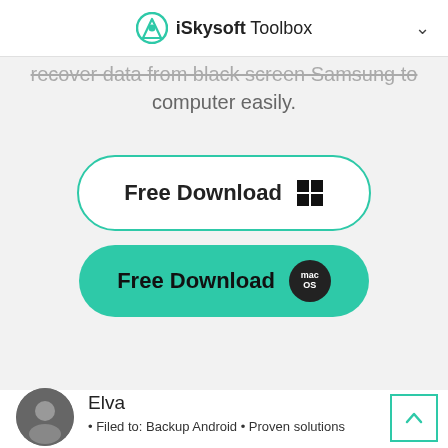iSkysoft Toolbox
recover data from black screen Samsung to computer easily.
[Figure (screenshot): Free Download button for Windows with outline border and Windows logo icon]
[Figure (screenshot): Free Download button for macOS with teal filled background and macOS badge icon]
Elva
• Filed to: Backup Android • Proven solutions